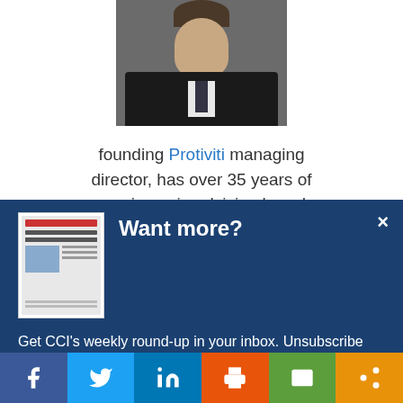[Figure (photo): Headshot of a man in a dark suit and tie against a dark background]
founding Protiviti managing director, has over 35 years of experience in advising boards and C-suite executives on a variety of
Want more?
Get CCI's weekly round-up in your inbox. Unsubscribe anytime.
Let's do this!